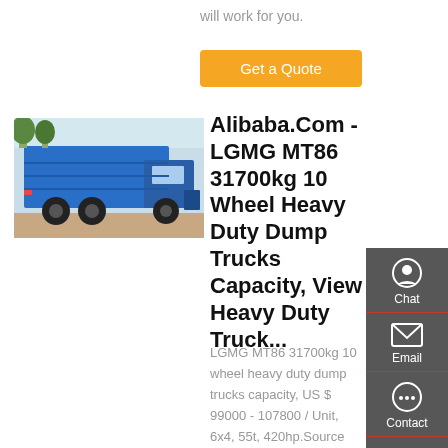will work for you.
Get a Quote
[Figure (photo): Blue LGMG MT86 heavy duty dump truck, rear three-quarter view, parked outdoors]
Alibaba.Com - LGMG MT86 31700kg 10 Wheel Heavy Duty Dump Trucks Capacity, View Heavy Duty Truck...
LGMG MT86 31700kg 10 wheel heavy duty dump trucks capacity, US $ 99000 - 107800 / Unit, 6x4, 55t, 420hp.Source from